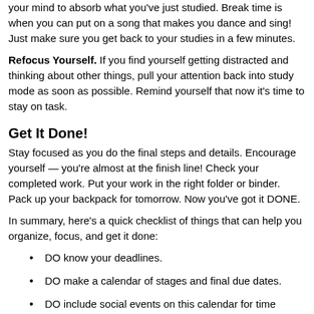your mind to absorb what you've just studied. Break time is when you can put on a song that makes you dance and sing! Just make sure you get back to your studies in a few minutes.
Refocus Yourself. If you find yourself getting distracted and thinking about other things, pull your attention back into study mode as soon as possible. Remind yourself that now it's time to stay on task.
Get It Done!
Stay focused as you do the final steps and details. Encourage yourself — you're almost at the finish line! Check your completed work. Put your work in the right folder or binder. Pack up your backpack for tomorrow. Now you've got it DONE.
In summary, here's a quick checklist of things that can help you organize, focus, and get it done:
DO know your deadlines.
DO make a calendar of stages and final due dates.
DO include social events on this calendar for time management.
DO understand the assignment and expectations.
DO give yourself a quiet place to study with all the materials you need.